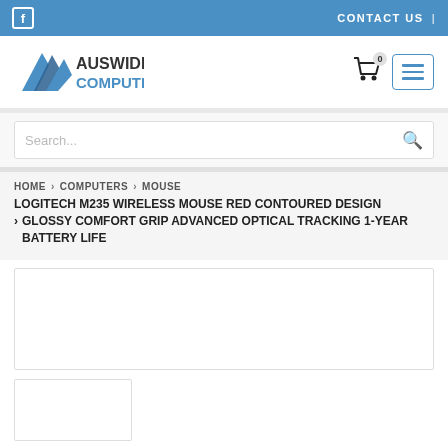Facebook icon | CONTACT US |
[Figure (logo): Auswide Computers logo with blue geometric arrow icon and text AUSWIDE COMPUTERS]
Search...
HOME › COMPUTERS › MOUSE
LOGITECH M235 WIRELESS MOUSE RED CONTOURED DESIGN › GLOSSY COMFORT GRIP ADVANCED OPTICAL TRACKING 1-YEAR BATTERY LIFE
[Figure (photo): Main product image placeholder box]
[Figure (photo): Product thumbnail placeholder box]